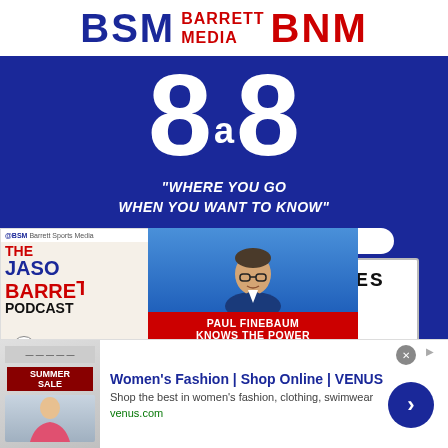[Figure (illustration): Barrett Sports Media 8@8 podcast/newsletter advertisement. Dark blue background with BSM and BNM logos at top. Large white '8@8' numeral display. Tagline: "WHERE YOU GO WHEN YOU WANT TO KNOW". Marquee board showing '8 SPORTS MEDIA STORIES BY 8AM ET PER WEEK'. Overlay popups showing The Jason Barrett Podcast cover and Paul Finebaum 'KNOWS THE POWER' image.]
[Figure (illustration): Bottom display advertisement for Women's Fashion | Shop Online | VENUS. Shows sale imagery on left, ad text and venus.com URL in center, blue arrow CTA button on right.]